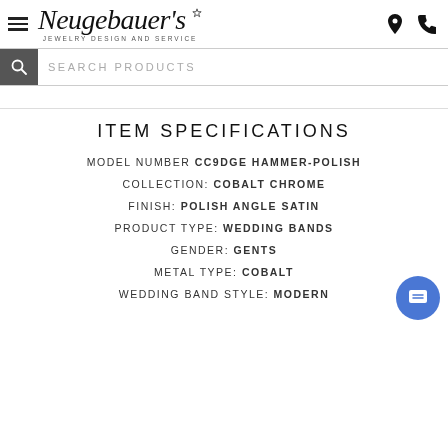Neugebauer's Jewelry Design and Service
ITEM SPECIFICATIONS
MODEL NUMBER CC9DGE HAMMER-POLISH
COLLECTION: COBALT CHROME
FINISH: POLISH ANGLE SATIN
PRODUCT TYPE: WEDDING BANDS
GENDER: GENTS
METAL TYPE: COBALT
WEDDING BAND STYLE: MODERN